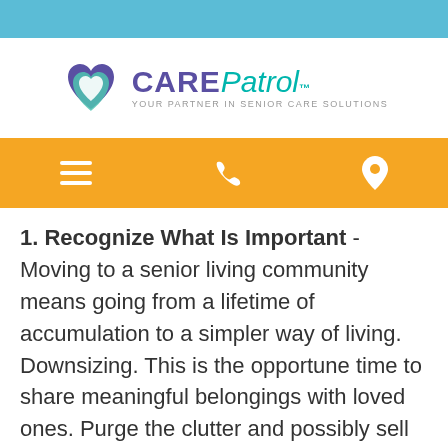[Figure (logo): CarePatrol logo with heart icon and tagline 'Your Partner In Senior Care Solutions']
1. Recognize What Is Important - Moving to a senior living community means going from a lifetime of accumulation to a simpler way of living. Downsizing. This is the opportune time to share meaningful belongings with loved ones. Purge the clutter and possibly sell the excess. This might include selling the house if it is no longer needed or being passed to the family. This will bring ease and simplicity as wealth is passed from one generation to the next.